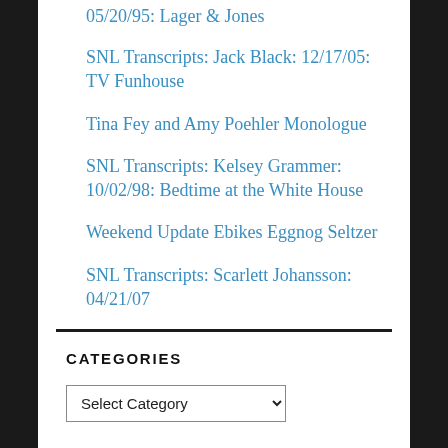05/20/95: Lager & Jones
SNL Transcripts: Jack Black: 12/17/05: TV Funhouse
Tina Fey and Amy Poehler Monologue
SNL Transcripts: Kelsey Grammer: 10/02/98: Bedtime at the White House
Weekend Update Ebikes Eggnog Seltzer
SNL Transcripts: Scarlett Johansson: 04/21/07
CATEGORIES